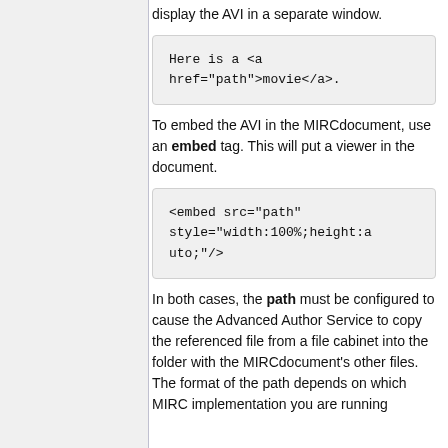display the AVI in a separate window.
Here is a <a href="path">movie</a>.
To embed the AVI in the MIRCdocument, use an embed tag. This will put a viewer in the document.
<embed src="path" style="width:100%;height:auto;"/>
In both cases, the path must be configured to cause the Advanced Author Service to copy the referenced file from a file cabinet into the folder with the MIRCdocument's other files. The format of the path depends on which MIRC implementation you are running